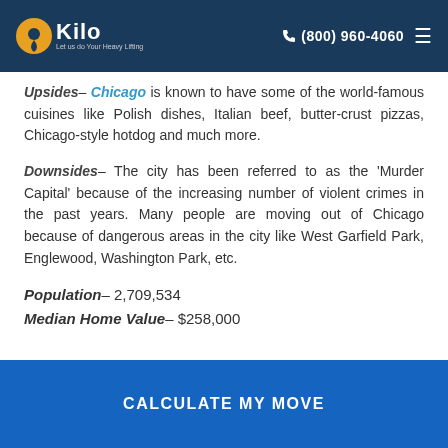Kilo Moving | (800) 960-4060
Upsides– Chicago is known to have some of the world-famous cuisines like Polish dishes, Italian beef, butter-crust pizzas, Chicago-style hotdog and much more.
Downsides– The city has been referred to as the 'Murder Capital' because of the increasing number of violent crimes in the past years. Many people are moving out of Chicago because of dangerous areas in the city like West Garfield Park, Englewood, Washington Park, etc.
Population– 2,709,534
Median Home Value– $258,000
CALCULATE MY MOVE